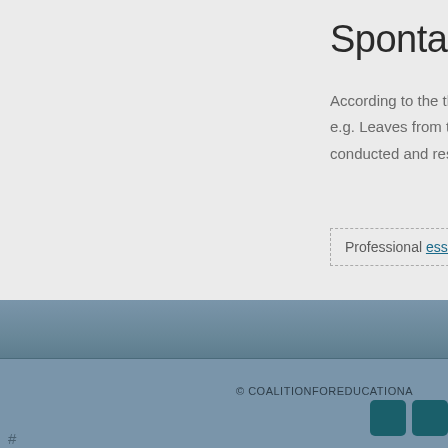Spontaneous
According to the theo
e.g. Leaves from tree
conducted and result
Professional essay s
© COALITIONFOREDUCATIONA
#